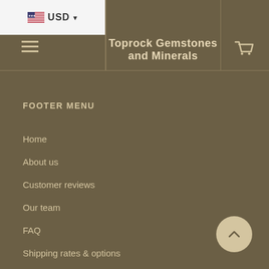USD | Toprock Gemstones and Minerals
FOOTER MENU
Home
About us
Customer reviews
Our team
FAQ
Shipping rates & options
Terms & conditions
Refund policy
Terms of Service
Contact us